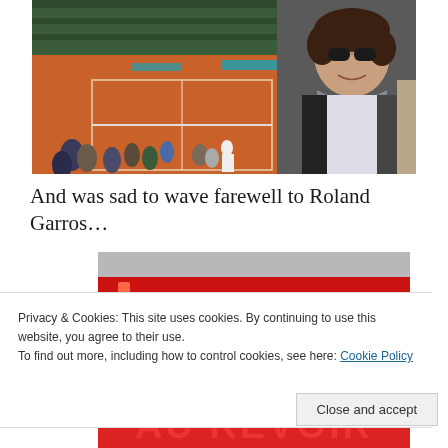[Figure (photo): Woman with sunglasses and scarf smiling at Roland Garros tennis stadium, with clay court and crowd visible in background]
And was sad to wave farewell to Roland Garros…
[Figure (photo): Sign reading AU REVOIR in red letters on grey/white background]
Privacy & Cookies: This site uses cookies. By continuing to use this website, you agree to their use.
To find out more, including how to control cookies, see here: Cookie Policy
Close and accept